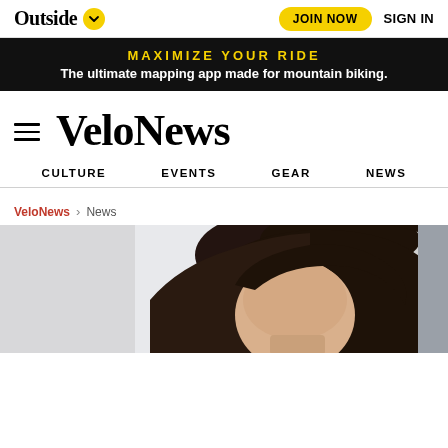Outside | JOIN NOW | SIGN IN
MAXIMIZE YOUR RIDE
The ultimate mapping app made for mountain biking.
VeloNews
CULTURE   EVENTS   GEAR   NEWS
VeloNews > News
[Figure (photo): Partial view of a person's head with dark hair, photo cropped at bottom of page]